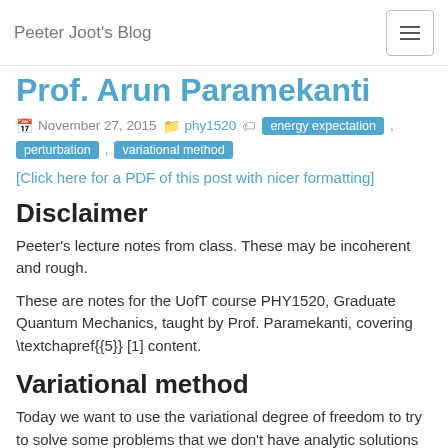Peeter Joot's Blog
Prof. Arun Paramekanti
November 27, 2015   phy1520   energy expectation , perturbation , variational method
[Click here for a PDF of this post with nicer formatting]
Disclaimer
Peeter's lecture notes from class. These may be incoherent and rough.
These are notes for the UofT course PHY1520, Graduate Quantum Mechanics, taught by Prof. Paramekanti, covering \textchapref{{5}} [1] content.
Variational method
Today we want to use the variational degree of freedom to try to solve some problems that we don't have analytic solutions for.